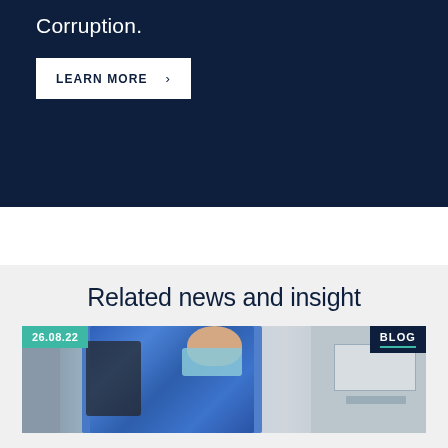Corruption.
LEARN MORE
Related news and insight
[Figure (photo): Man wearing a face mask and carrying a backpack using an ATM machine, dated 26.08.22, tagged as BLOG]
26.08.22 | BLOG